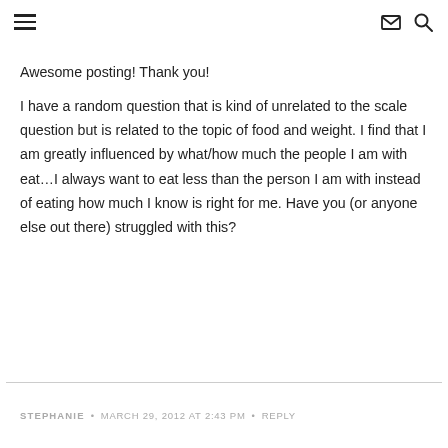Navigation menu, mail icon, search icon
Awesome posting! Thank you!
I have a random question that is kind of unrelated to the scale question but is related to the topic of food and weight. I find that I am greatly influenced by what/how much the people I am with eat…I always want to eat less than the person I am with instead of eating how much I know is right for me. Have you (or anyone else out there) struggled with this?
STEPHANIE • MARCH 29, 2012 AT 2:43 PM • REPLY